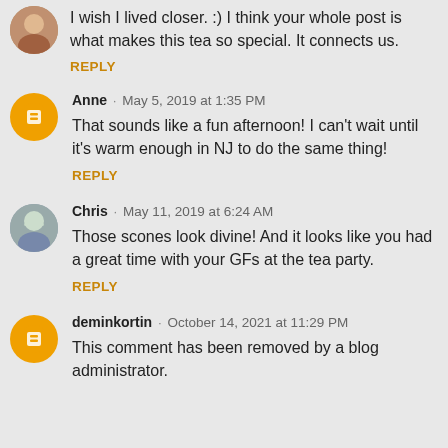I wish I lived closer. :) I think your whole post is what makes this tea so special. It connects us.
REPLY
Anne · May 5, 2019 at 1:35 PM
That sounds like a fun afternoon! I can't wait until it's warm enough in NJ to do the same thing!
REPLY
Chris · May 11, 2019 at 6:24 AM
Those scones look divine! And it looks like you had a great time with your GFs at the tea party.
REPLY
deminkortin · October 14, 2021 at 11:29 PM
This comment has been removed by a blog administrator.